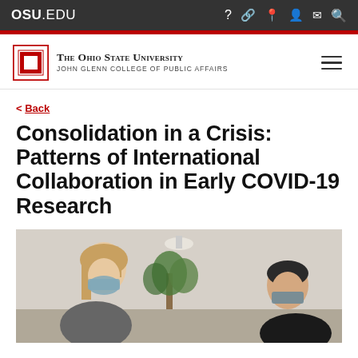OSU.EDU
[Figure (logo): The Ohio State University - John Glenn College of Public Affairs logo with hamburger menu]
< Back
Consolidation in a Crisis: Patterns of International Collaboration in Early COVID-19 Research
[Figure (photo): Two people wearing face masks seated at a table, with a plant in the background]